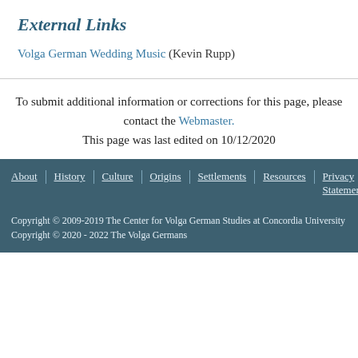External Links
Volga German Wedding Music (Kevin Rupp)
To submit additional information or corrections for this page, please contact the Webmaster.
This page was last edited on 10/12/2020
About | History | Culture | Origins | Settlements | Resources | Privacy Statement
Copyright © 2009-2019 The Center for Volga German Studies at Concordia University
Copyright © 2020 - 2022 The Volga Germans